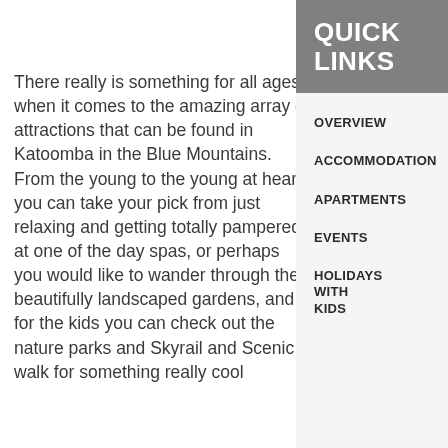There really is something for all ages when it comes to the amazing array of attractions that can be found in Katoomba in the Blue Mountains. From the young to the young at heart you can take your pick from just relaxing and getting totally pampered at one of the day spas, or perhaps you would like to wander through the beautifully landscaped gardens, and for the kids you can check out the nature parks and Skyrail and Scenic walk for something really cool
QUICK LINKS
OVERVIEW
ACCOMMODATION
APARTMENTS
EVENTS
HOLIDAYS WITH KIDS